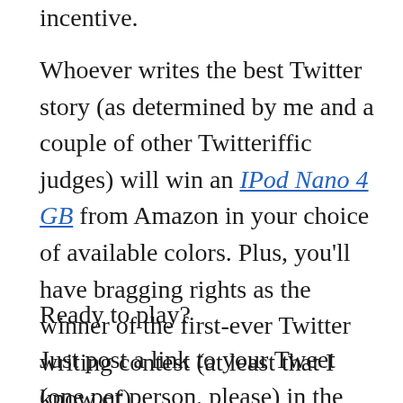incentive.
Whoever writes the best Twitter story (as determined by me and a couple of other Twitteriffic judges) will win an IPod Nano 4 GB from Amazon in your choice of available colors. Plus, you’ll have bragging rights as the winner of the first-ever Twitter writing contest (at least that I know of).
Ready to play?
Just post a link to your Tweet (one per person, please) in the comments to this post before 5:00 PM CST on this Friday, May 23,